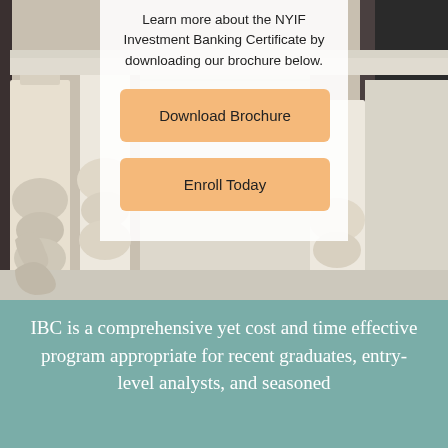[Figure (photo): Classical stone building with ornate columns and architectural details, partially obscured by a white semi-transparent overlay panel in the center]
Learn more about the NYIF Investment Banking Certificate by downloading our brochure below.
Download Brochure
Enroll Today
IBC is a comprehensive yet cost and time effective program appropriate for recent graduates, entry-level analysts, and seasoned